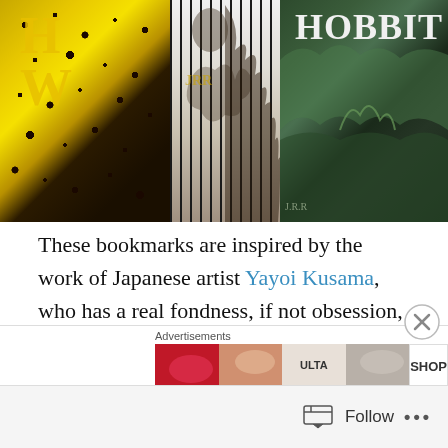[Figure (photo): Photo of book covers including The Hobbit and another book with yellow/black polka dot pattern]
These bookmarks are inspired by the work of Japanese artist Yayoi Kusama, who has a real fondness, if not obsession, with polka dots of every size and colour imaginable. She's covered everything from floors and canvasses, to naked assistants, but I'm not sure she ever made it to bookmarks. These will, no doubt, make the perfect accompaniment to all those books on your child's summer reading list.
[Figure (photo): Advertisement banner showing makeup/cosmetics images including lipstick and eye makeup, ULTA brand, SHOP button]
[Figure (other): Close button (X circle) overlay on bottom right of content area]
[Figure (other): Bottom bar with Follow button and more options (...)]